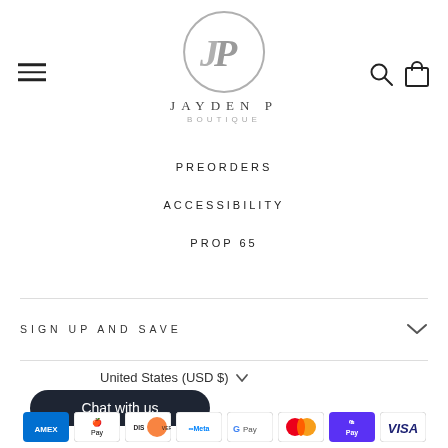[Figure (logo): Jayden P Boutique logo — circular grey monogram with intertwined J and P letters, with text JAYDEN P BOUTIQUE below]
PREORDERS
ACCESSIBILITY
PROP 65
SIGN UP AND SAVE
United States (USD $)
Chat with us
[Figure (other): Payment method icons: Amex, Apple Pay, Discover, Meta Pay, Google Pay, Mastercard, Shop Pay, Visa]